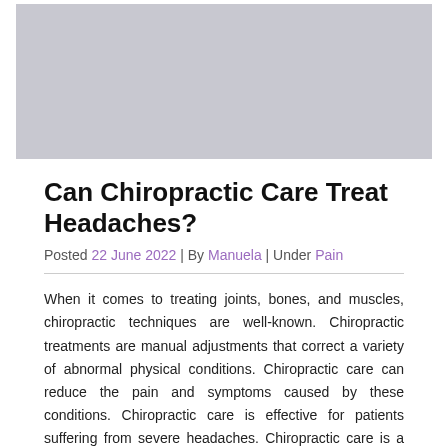[Figure (photo): Image placeholder / banner image at top of article, light gray rectangle]
Can Chiropractic Care Treat Headaches?
Posted 22 June 2022 | By Manuela | Under Pain
When it comes to treating joints, bones, and muscles, chiropractic techniques are well-known. Chiropractic treatments are manual adjustments that correct a variety of abnormal physical conditions. Chiropractic care can reduce the pain and symptoms caused by these conditions. Chiropractic care is effective for patients suffering from severe headaches. Chiropractic care is a great option for chronic headaches.
Chiropractic Care